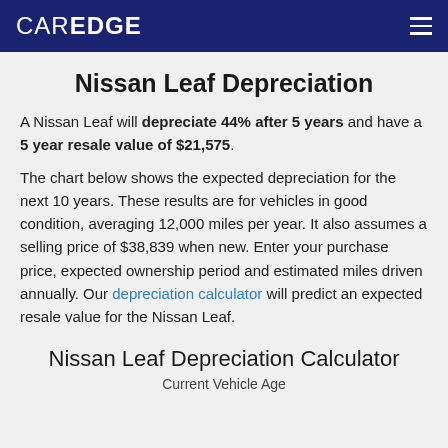CAREDGE
Nissan Leaf Depreciation
A Nissan Leaf will depreciate 44% after 5 years and have a 5 year resale value of $21,575.
The chart below shows the expected depreciation for the next 10 years. These results are for vehicles in good condition, averaging 12,000 miles per year. It also assumes a selling price of $38,839 when new. Enter your purchase price, expected ownership period and estimated miles driven annually. Our depreciation calculator will predict an expected resale value for the Nissan Leaf.
Nissan Leaf Depreciation Calculator
Current Vehicle Age